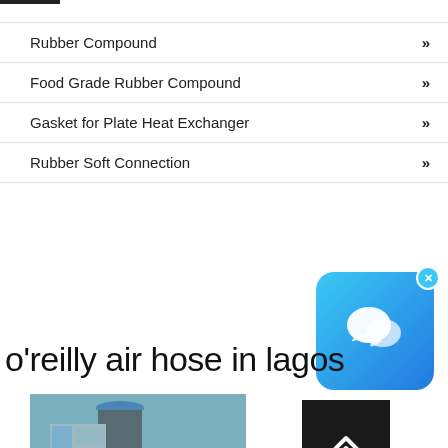Rubber Compound »
Food Grade Rubber Compound »
Gasket for Plate Heat Exchanger »
Rubber Soft Connection »
[Figure (illustration): Blue chat/messaging app icon with speech bubbles, with a close X button in the top right corner]
[Figure (other): Dark/black square button with white double upward chevron arrows for scroll-to-top]
o'reilly air hose in lagos
[Figure (photo): Photo of a person wearing a blue hard hat, partially visible, appears to be outdoors near a building]